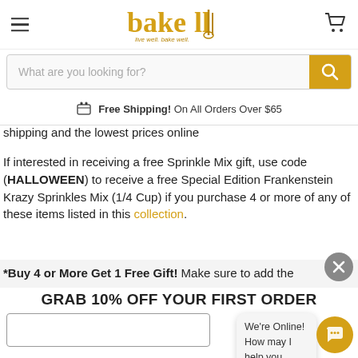[Figure (logo): Bakell logo with whisk icon and tagline 'live well. bake well.']
What are you looking for?
Free Shipping! On All Orders Over $65
shipping and the lowest prices online
If interested in receiving a free Sprinkle Mix gift, use code (HALLOWEEN) to receive a free Special Edition Frankenstein Krazy Sprinkles Mix (1/4 Cup) if you purchase 4 or more of any of these items listed in this collection.
*Buy 4 or More Get 1 Free Gift! Make sure to add the
GRAB 10% OFF YOUR FIRST ORDER
We're Online!
How may I help you today?